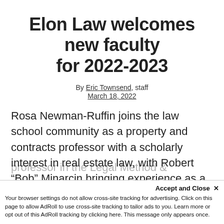Elon Law welcomes new faculty for 2022-2023
By Eric Townsend, staff
March 18, 2022
Rosa Newman-Ruffin joins the law school community as a property and contracts professor with a scholarly interest in real estate law, with Robert “Bob” Minarcin bringing experience as a public defender to his role as a professor in the Legal Method &
Accept and Close ×
Your browser settings do not allow cross-site tracking for advertising. Click on this page to allow AdRoll to use cross-site tracking to tailor ads to you. Learn more or opt out of this AdRoll tracking by clicking here. This message only appears once.